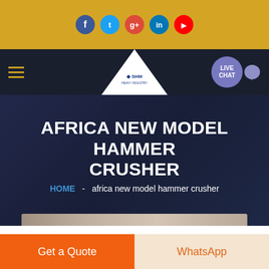[Figure (screenshot): Website header with golden/yellow background showing social media icons: Facebook, Twitter, Google+, LinkedIn, YouTube]
[Figure (screenshot): Navigation bar with dark navy background, hamburger menu icon on left, SHM logo in center triangle shape, LIVE CHAT button on right]
AFRICA NEW MODEL HAMMER CRUSHER
HOME - africa new model hammer crusher
[Figure (photo): Partially visible product image at bottom of hero section]
Get a Quote
WhatsApp